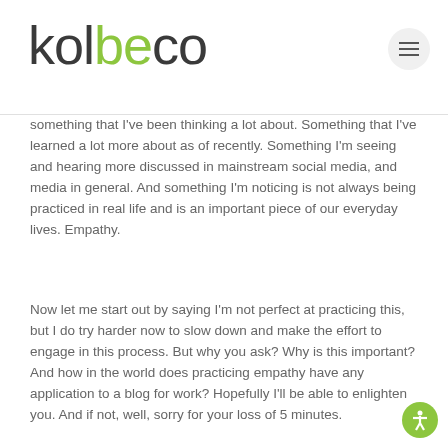kolbeco
something that I've been thinking a lot about. Something that I've learned a lot more about as of recently. Something I'm seeing and hearing more discussed in mainstream social media, and media in general. And something I'm noticing is not always being practiced in real life and is an important piece of our everyday lives. Empathy.
Now let me start out by saying I'm not perfect at practicing this, but I do try harder now to slow down and make the effort to engage in this process. But why you ask? Why is this important? And how in the world does practicing empathy have any application to a blog for work? Hopefully I'll be able to enlighten you. And if not, well, sorry for your loss of 5 minutes.
I recently went thought something that was extremely difficult and personal to me, and made me judge myself, my choices...